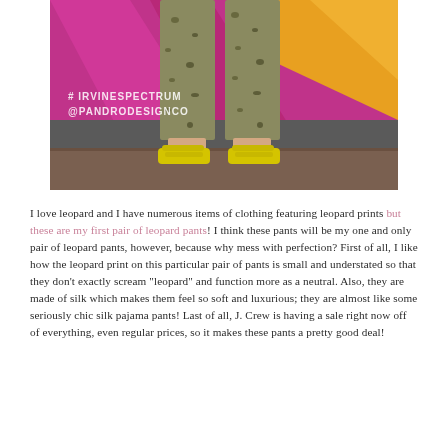[Figure (photo): Photo of person wearing leopard print wide-leg pants and bright yellow sandal slides, standing in front of a colorful mural with pink/magenta background and yellow illustrated design. Text on mural reads #IRVINESPECTRUM @PANDRODESIGNCO. The photo is cropped to show from mid-torso down.]
I love leopard and I have numerous items of clothing featuring leopard prints but these are my first pair of leopard pants! I think these pants will be my one and only pair of leopard pants, however, because why mess with perfection? First of all, I like how the leopard print on this particular pair of pants is small and understated so that they don't exactly scream "leopard" and function more as a neutral. Also, they are made of silk which makes them feel so soft and luxurious; they are almost like some seriously chic silk pajama pants! Last of all, J. Crew is having a sale right now off of everything, even regular prices, so it makes these pants a pretty good deal!